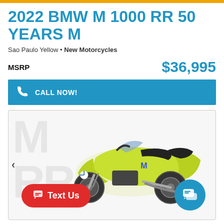2022 BMW M 1000 RR 50 YEARS M
Sao Paulo Yellow • New Motorcycles
MSRP  $36,995
CALL NOW!
[Figure (photo): Yellow BMW M 1000 RR 50 Years M motorcycle on a light grey background with 'M RR' watermark letters. Navigation arrow visible on left. 'Text Us' red button and blue chat bubble button overlaid at bottom.]